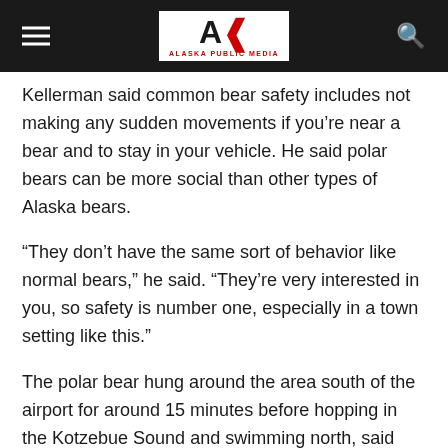Alaska Public Media
Kellerman said common bear safety includes not making any sudden movements if you're near a bear and to stay in your vehicle. He said polar bears can be more social than other types of Alaska bears.
“They don’t have the same sort of behavior like normal bears,” he said. “They’re very interested in you, so safety is number one, especially in a town setting like this.”
The polar bear hung around the area south of the airport for around 15 minutes before hopping in the Kotzebue Sound and swimming north, said Kellerman. He said he hasn’t heard of it being in the city limits since Saturday night.
Mangipane, with Fish and Wildlife, said even though it’s out of the city limits, the bear should still be cautious.